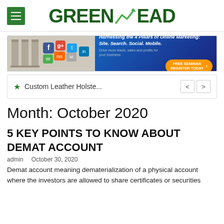GREEN LEAD
[Figure (screenshot): Banner advertisement for online marketing seminar: 'Harnessing the 4 Pillars of Online Marketing: Site. Search. Social. Mobile. Drive more leads, sales and profits for your business. FREE SEMINAR REGISTER TODAY']
★ Custom Leather Holste... < >
Month: October 2020
5 KEY POINTS TO KNOW ABOUT DEMAT ACCOUNT
admin   October 30, 2020
Demat account meaning dematerialization of a physical account where the investors are allowed to share certificates or securities